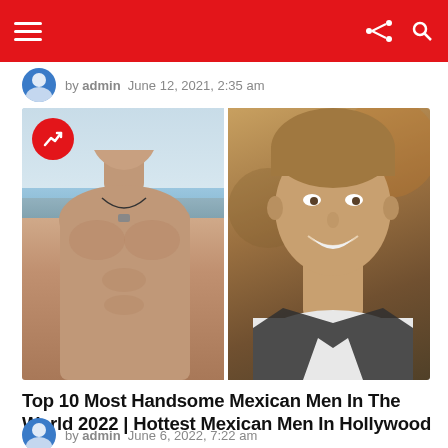Navigation bar with hamburger menu, share icon, and search icon
by admin  June 12, 2021, 2:35 am
[Figure (photo): Two photos side by side: left shows a shirtless athletic young man outdoors at a beach; right shows a handsome smiling man in a suit. A red circular trending badge with an upward arrow overlays the top-left corner.]
Top 10 Most Handsome Mexican Men In The World 2022 | Hottest Mexican Men In Hollywood
by admin  June 6, 2022, 7:22 am